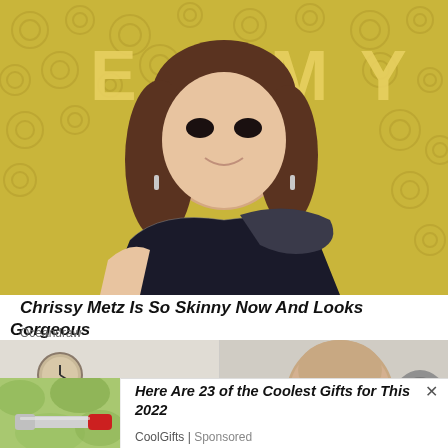[Figure (photo): Chrissy Metz posing at the Emmy Awards in front of a gold Emmy backdrop with circular patterns, wearing a black sequined off-shoulder gown]
Chrissy Metz Is So Skinny Now And Looks Gorgeous
Oceandraw
[Figure (photo): An older man at a gym with exercise equipment visible in the background]
[Figure (photo): A red nail tool / nail drill pen against a green leafy background]
Here Are 23 of the Coolest Gifts for This 2022
CoolGifts | Sponsored